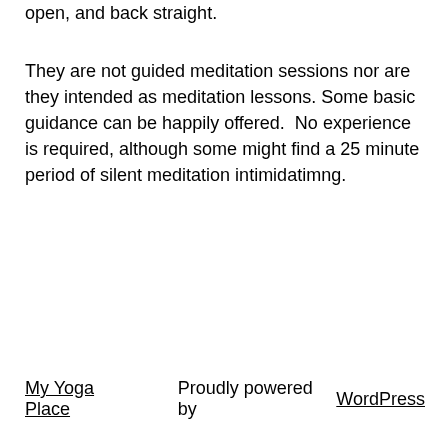open, and back straight.
They are not guided meditation sessions nor are they intended as meditation lessons. Some basic guidance can be happily offered.  No experience is required, although some might find a 25 minute period of silent meditation intimidatimng.
My Yoga Place    Proudly powered by WordPress